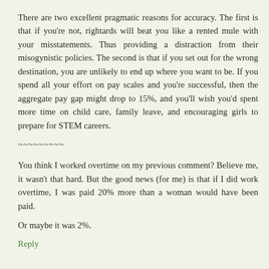There are two excellent pragmatic reasons for accuracy. The first is that if you're not, rightards will beat you like a rented mule with your misstatements. Thus providing a distraction from their misogynistic policies. The second is that if you set out for the wrong destination, you are unlikely to end up where you want to be. If you spend all your effort on pay scales and you're successful, then the aggregate pay gap might drop to 15%, and you'll wish you'd spent more time on child care, family leave, and encouraging girls to prepare for STEM careers.
~~~~~~~~~
You think I worked overtime on my previous comment? Believe me, it wasn't that hard. But the good news (for me) is that if I did work overtime, I was paid 20% more than a woman would have been paid.
Or maybe it was 2%.
Reply